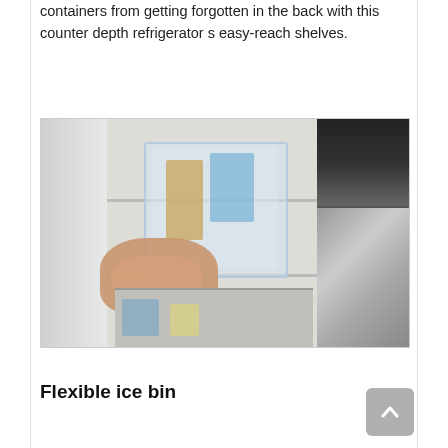containers from getting forgotten in the back with this counter depth refrigerator s easy-reach shelves.
[Figure (photo): A hand pulling out a clear plastic bin/ice bin from a refrigerator. The refrigerator interior is visible with shelves and items inside, and the stainless steel exterior door panels are on the right side.]
Flexible ice bin